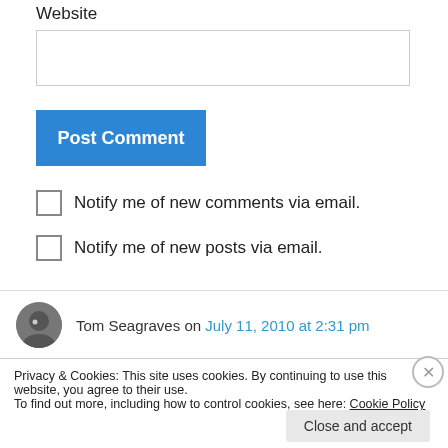Website
Post Comment
Notify me of new comments via email.
Notify me of new posts via email.
Tom Seagraves on July 11, 2010 at 2:31 pm
Privacy & Cookies: This site uses cookies. By continuing to use this website, you agree to their use.
To find out more, including how to control cookies, see here: Cookie Policy
Close and accept